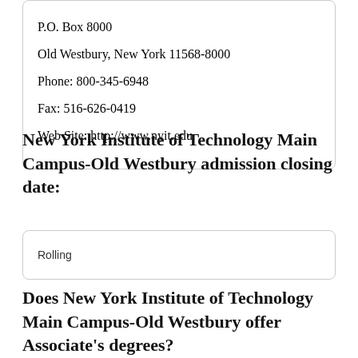P.O. Box 8000
Old Westbury, New York 11568-8000
Phone: 800-345-6948
Fax: 516-626-0419
Web Site: http://www.nyit.edu
New York Institute of Technology Main Campus-Old Westbury admission closing date:
Rolling
Does New York Institute of Technology Main Campus-Old Westbury offer Associate's degrees?